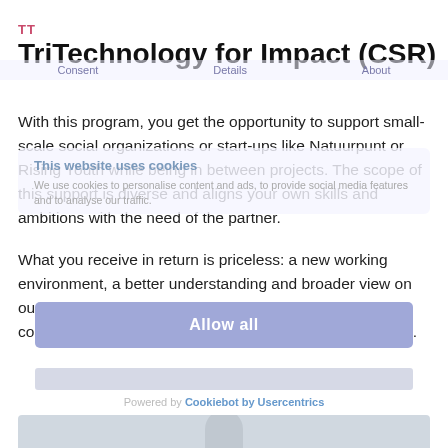TT
TriTechnology for Impact (CSR)
With this program, you get the opportunity to support small-scale social organizations or start-ups like Natuurpunt or Rising Youth while being in between projects. The scope of this support is diverse and aligns your own skills and ambitions with the need of the partner.
What you receive in return is priceless: a new working environment, a better understanding and broader view on our society, a new network, friends, new ways of collaboration and knowledge sharing, new opportunities ...
This website uses cookies
We use cookies to personalise content and ads, to provide social media features and to analyse our traffic.
Allow all
Powered by Cookiebot by Usercentrics
[Figure (photo): Bottom portion of a person's face/head photo partially visible at the bottom of the page]